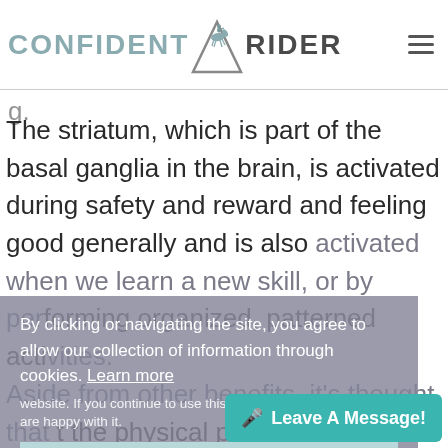CONFIDENT RIDER
The striatum, which is part of the basal ganglia in the brain, is activated during safety and reward and feeling good generally and is also activated when we learn a new skill, or by performing organized, patterned activities. Aside from other benefits, it's thought that the physical process of patterned, repetitive activities activate the striatum, creating a feeling of safety, and reor
By clicking or navigating the site, you agree to allow our collection of information through cookies. Learn more
If you continue to use this site I will assume that you are happy with it.
Got it!
Leave A Message!